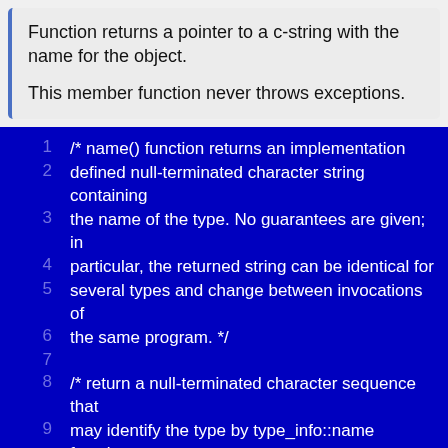Function returns a pointer to a c-string with the name for the object.

This member function never throws exceptions.
[Figure (screenshot): Code block with dark blue background showing line-numbered source code comments about name() function returning implementation-defined null-terminated character string, and a comment about returning null-terminated character sequence for type_info::name function code example.]